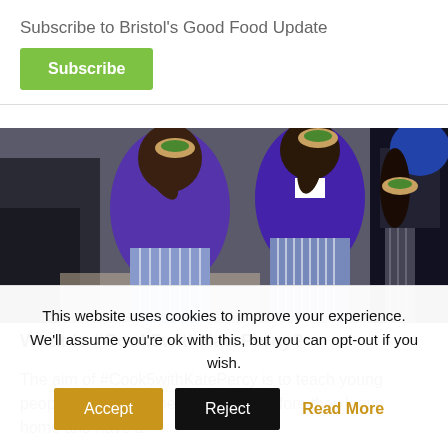Subscribe to Bristol's Good Food Update
Subscribe
[Figure (photo): Children wearing purple school uniforms and striped aprons eating burgers/sandwiches in what appears to be a school cooking class]
What is #Cook5withKatePercy?
The aim of #Cook5withKatePercy is to teach young people to cook five healthy meals before they leave home and have a
This website uses cookies to improve your experience. We'll assume you're ok with this, but you can opt-out if you wish.
Accept
Reject
Read More